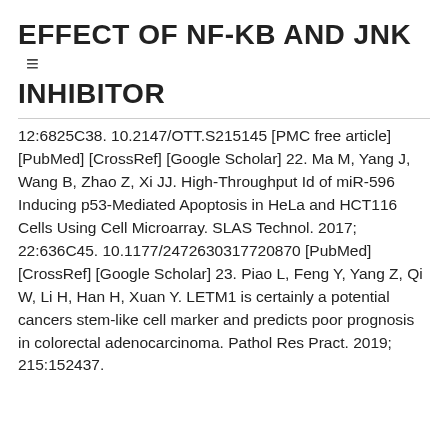EFFECT OF NF-KB AND JNK INHIBITOR
12:6825C38. 10.2147/OTT.S215145 [PMC free article] [PubMed] [CrossRef] [Google Scholar] 22. Ma M, Yang J, Wang B, Zhao Z, Xi JJ. High-Throughput Id of miR-596 Inducing p53-Mediated Apoptosis in HeLa and HCT116 Cells Using Cell Microarray. SLAS Technol. 2017; 22:636C45. 10.1177/2472630317720870 [PubMed] [CrossRef] [Google Scholar] 23. Piao L, Feng Y, Yang Z, Qi W, Li H, Han H, Xuan Y. LETM1 is certainly a potential cancers stem-like cell marker and predicts poor prognosis in colorectal adenocarcinoma. Pathol Res Pract. 2019; 215:152437.